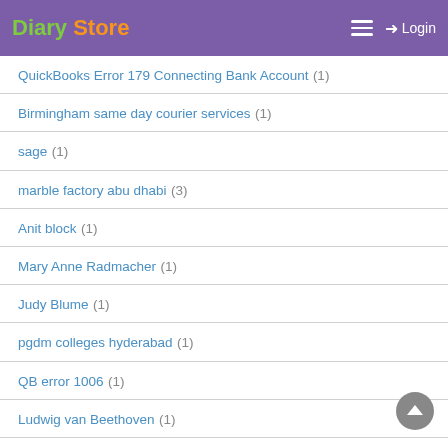Diary Store | Login
QuickBooks Error 179 Connecting Bank Account (1)
Birmingham same day courier services (1)
sage (1)
marble factory abu dhabi (3)
Anit block (1)
Mary Anne Radmacher (1)
Judy Blume (1)
pgdm colleges hyderabad (1)
QB error 1006 (1)
Ludwig van Beethoven (1)
QuickBooks company file access error 6150 (1)
#quickbooks error 30114 (1)